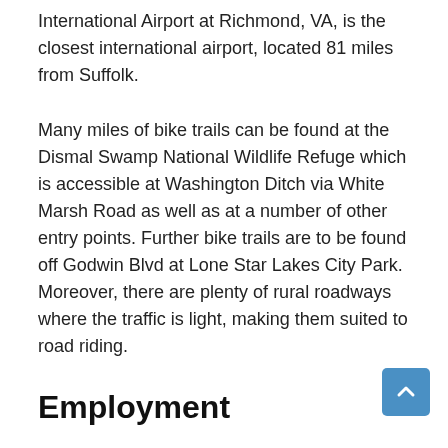International Airport at Richmond, VA, is the closest international airport, located 81 miles from Suffolk.
Many miles of bike trails can be found at the Dismal Swamp National Wildlife Refuge which is accessible at Washington Ditch via White Marsh Road as well as at a number of other entry points. Further bike trails are to be found off Godwin Blvd at Lone Star Lakes City Park. Moreover, there are plenty of rural roadways where the traffic is light, making them suited to road riding.
Employment
Income per capita in the city of Suffolk is 5.3% higher than that of the national average where median household income is 25.3% higher than the national average. Poverty levels in the city are